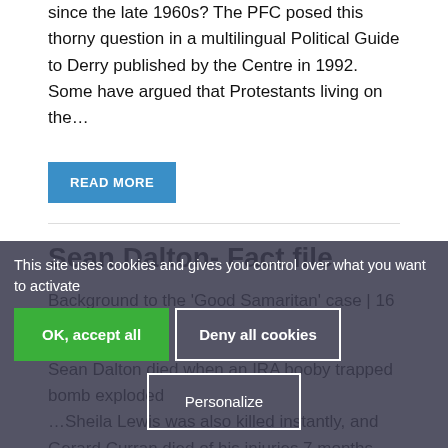since the late 1960s? The PFC posed this thorny question in a multilingual Political Guide to Derry published by the Centre in 1992. Some have argued that Protestants living on the...
READ MORE
Sean Dalton- Fact file
Background to the 'Good Samaritan' case | 16 March 2018
Sean Dalton died when an IRA booby trapped bomb exploded ...Sheila Lewis was also killed instantly, and Gerard Curran died of his injuries 7 months later. They had gone to check on a neighbour who hadn't been seen in a few days, and on entering...
READ MORE
This site uses cookies and gives you control over what you want to activate
OK, accept all
Deny all cookies
Personalize